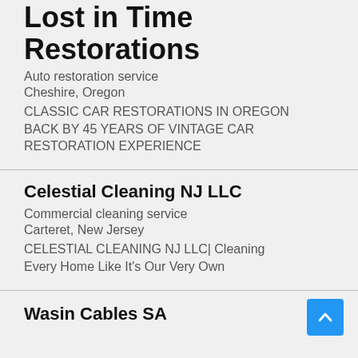Lost in Time Restorations
Auto restoration service
Cheshire, Oregon
CLASSIC CAR RESTORATIONS IN OREGON BACK BY 45 YEARS OF VINTAGE CAR RESTORATION EXPERIENCE
Celestial Cleaning NJ LLC
Commercial cleaning service
Carteret, New Jersey
CELESTIAL CLEANING NJ LLC| Cleaning Every Home Like It's Our Very Own
Wasin Cables SA